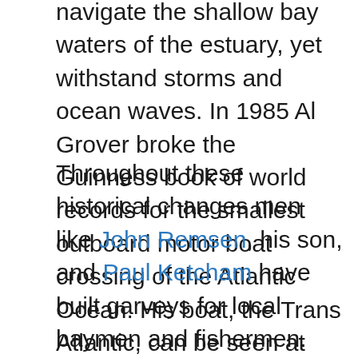navigate the shallow bay waters of the estuary, yet withstand storms and ocean waves. In 1985 Al Grover broke the Guinness book of world records for the smallest outboard motor boat crossing of the Atlantic Ocean. His boat, the Trans Atlantic, can be seen at the Marine Education Center.
Throughout these historical changes men like John Remsen, his son, and Paul Ketcham have built garveys for local baymen and fishermen. The traditional garvey is a flat bottom boat so that the baymen can easily navigate the shallow bay waters in the area, in as little as 3 inches of water. The Remsens personally work with fishermen on the bay, as killey trappers and bait crab fishermen. The boats were traditionally made of oak and pine, a